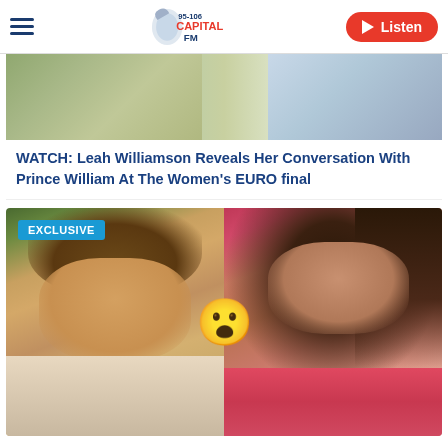Capital FM 95-106 | Listen
[Figure (screenshot): Partial image of people at what appears to be an outdoor event, cropped at the top]
WATCH: Leah Williamson Reveals Her Conversation With Prince William At The Women's EURO final
[Figure (photo): EXCLUSIVE: Split image showing two people from a TV show (likely Love Island), with a surprised face emoji in the center. Left side shows a young man looking up, right side shows a young woman smiling.]